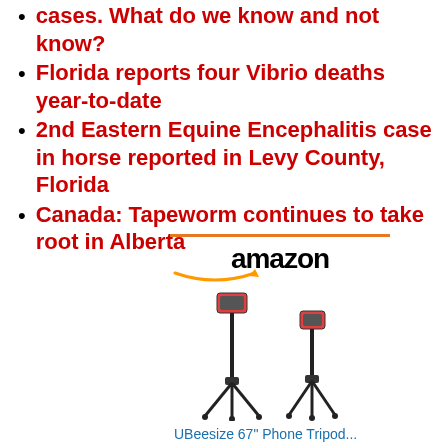cases. What do we know and not know?
Florida reports four Vibrio deaths year-to-date
2nd Eastern Equine Encephalitis case in horse reported in Levy County, Florida
Canada: Tapeworm continues to take root in Alberta
[Figure (other): Amazon advertisement featuring a UBeesize 67 inch Phone Tripod product listing with product image, price $28.99, Prime badge, and Shop now button with Amazon logo]